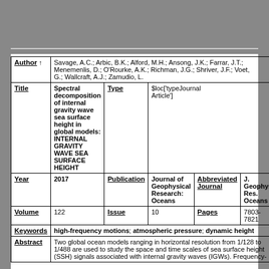| Field | Value | Field2 | Value2 |
| --- | --- | --- | --- |
| Author ↑ | Savage, A.C.; Arbic, B.K.; Alford, M.H.; Ansong, J.K.; Farrar, J.T.; Menemenlis, D.; O'Rourke, A.K.; Richman, J.G.; Shriver, J.F.; Voet, G.; Wallcraft, A.J.; Zamudio, L. |  |  |
| Title | Spectral decomposition of internal gravity wave sea surface height in global models: INTERNAL GRAVITY WAVE SEA SURFACE HEIGHT | Type | $loc['typeJournal Article'] |
| Year | 2017 | Publication | Journal of Geophysical Research: Oceans | Abbreviated Journal | J. Geophys. Res. Oceans |
| Volume | 122 | Issue | 10 | Pages | 7803-7821 |
| Keywords | high-frequency motions; atmospheric pressure; dynamic height |  |  |
| Abstract | Two global ocean models ranging in horizontal resolution from 1/128 to 1/488 are used to study the space and time scales of sea surface height (SSH) signals associated with internal gravity waves (IGWs). Frequency- |  |  |